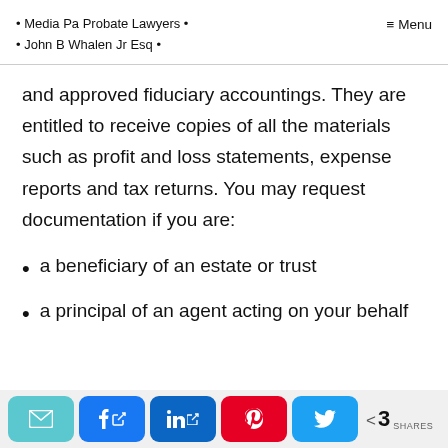• Media Pa Probate Lawyers • • John B Whalen Jr Esq •  ≡ Menu
and approved fiduciary accountings. They are entitled to receive copies of all the materials such as profit and loss statements, expense reports and tax returns. You may request documentation if you are:
a beneficiary of an estate or trust
a principal of an agent acting on your behalf